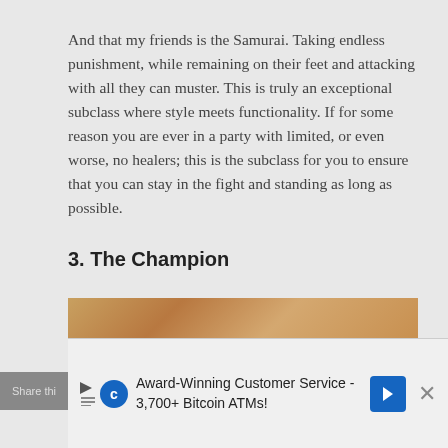And that my friends is the Samurai. Taking endless punishment, while remaining on their feet and attacking with all they can muster. This is truly an exceptional subclass where style meets functionality. If for some reason you are ever in a party with limited, or even worse, no healers; this is the subclass for you to ensure that you can stay in the fight and standing as long as possible.
3. The Champion
[Figure (photo): Partially visible image at bottom, showing warm golden/brown tones suggesting a character or scene related to The Champion]
Award-Winning Customer Service - 3,700+ Bitcoin ATMs!